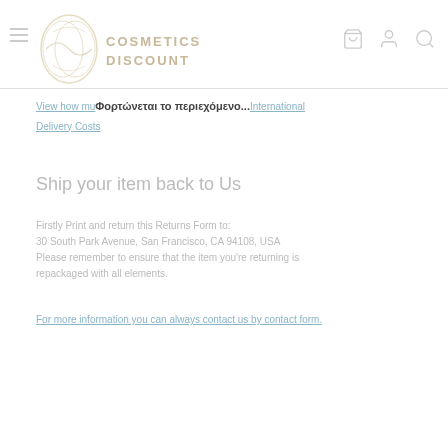COSMETICS DISCOUNT
View how mu... Φορτώνεται το περιεχόμενο... International Delivery Costs
Ship your item back to Us
Firstly Print and return this Returns Form to:
30 South Park Avenue, San Francisco, CA 94108, USA
Please remember to ensure that the item you're returning is repackaged with all elements.
For more information you can always contact us by contact form.